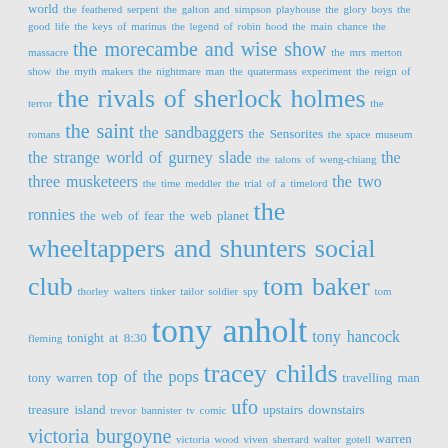world the feathered serpent the galton and simpson playhouse the glory boys the good life the keys of marinus the legend of robin hood the main chance the massacre the morecambe and wise show the mrs merton show the myth makers the nightmare man the quatermass experiment the reign of terror the rivals of sherlock holmes the romans the saint the sandbaggers the Sensorites the space museum the strange world of gurney slade the talons of weng-chiang the three musketeers the time meddler the trial of a timelord the two ronnies the web of fear the web planet the wheeltappers and shunters social club thorley walters tinker tailor soldier spy tom baker tom fleming tonight at 8:30 tony anholt tony hancock tony warren top of the pops tracey childs travelling man treasure island trevor bannister tv comic ufo upstairs downstairs victoria burgoyne victoria wood viven sherrard walter gotell warren clarke warren mitchell wendy hall william emms william gaunt william hartnell william russell william shakespeare william squire willoughby gray ww2 documentary youtube z cars